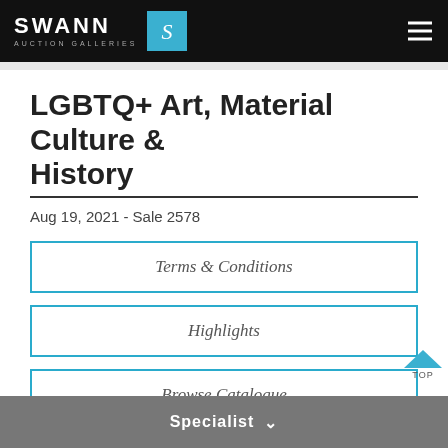SWANN AUCTION GALLERIES
LGBTQ+ Art, Material Culture & History
Aug 19, 2021 - Sale 2578
Terms & Conditions
Highlights
Browse Catalogue
Specialist